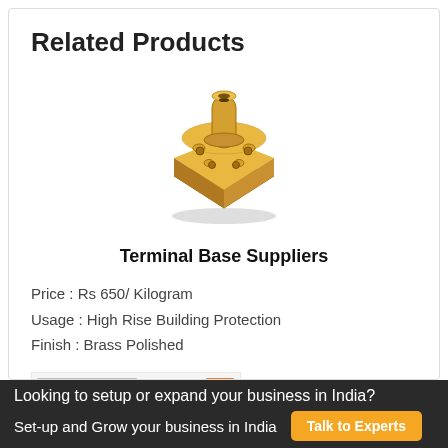Related Products
[Figure (photo): Brass terminal base component with square mounting flange and central cylindrical post, viewed from above at an angle]
Terminal Base Suppliers
Price : Rs 650/ Kilogram
Usage : High Rise Building Protection
Finish : Brass Polished
[Figure (schematic): Technical schematic/catalog sheet showing lightning protection components and their specifications]
Looking to setup or expand your business in India?
Set-up and Grow your business in India
Talk to Experts